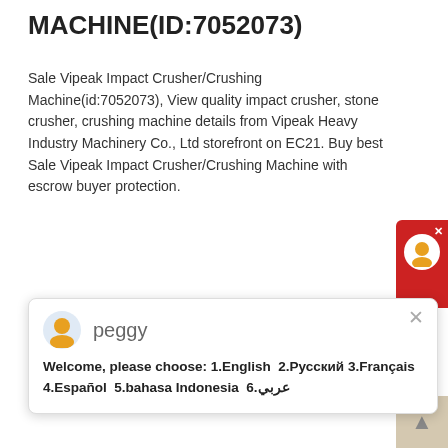MACHINE(ID:7052073)
Sale Vipeak Impact Crusher/Crushing Machine(id:7052073), View quality impact crusher, stone crusher, crushing machine details from Vipeak Heavy Industry Machinery Co., Ltd storefront on EC21. Buy best Sale Vipeak Impact Crusher/Crushing Machine with escrow buyer protection.
[Figure (screenshot): Chat popup widget showing agent 'peggy' with welcome message in multiple languages: Welcome, please choose: 1.English 2.Русский 3.Français 4.Español 5.bahasa Indonesia 6.عربي]
[Figure (photo): Photograph of a large green industrial mining/crushing machine on a construction site with sandy ground and trees in background]
PRODUCT LIST VIPEAK SMART MINING MACHINERY PROVIDES YOU